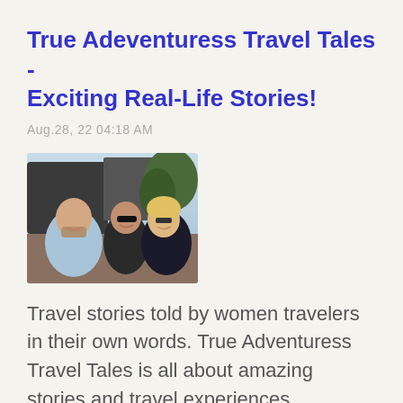True Adeventuress Travel Tales - Exciting Real-Life Stories!
Aug.28, 22 04:18 AM
[Figure (photo): Selfie photo of three travelers, two men and a woman with blonde hair and glasses, smiling outdoors near a vehicle]
Travel stories told by women travelers in their own words. True Adventuress Travel Tales is all about amazing stories and travel experiences.